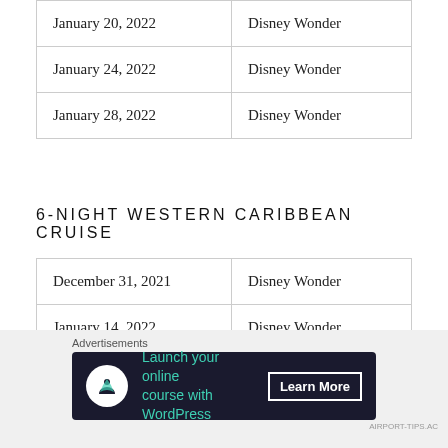| January 20, 2022 | Disney Wonder |
| January 24, 2022 | Disney Wonder |
| January 28, 2022 | Disney Wonder |
6-NIGHT WESTERN CARIBBEAN CRUISE
| December 31, 2021 | Disney Wonder |
| January 14, 2022 | Disney Wonder |
[Figure (other): Advertisement banner: 'Launch your online course with WordPress — Learn More' on dark background with tree/person icon]